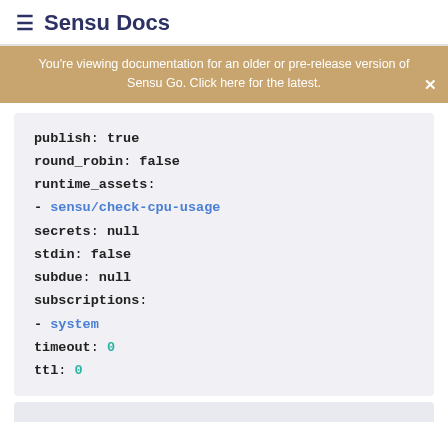≡ Sensu Docs
You're viewing documentation for an older or pre-release version of Sensu Go. Click here for the latest.
publish: true
round_robin: false
runtime_assets:
- sensu/check-cpu-usage
secrets: null
stdin: false
subdue: null
subscriptions:
- system
timeout: 0
ttl: 0